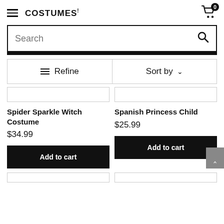COSTUMES! (logo with hamburger menu and cart icon showing 0 items)
[Figure (screenshot): Search bar with magnifying glass icon]
[Figure (screenshot): Refine and Sort by filter row]
Spider Sparkle Witch Costume
$34.99
Add to cart
Spanish Princess Child
$25.99
Add to cart